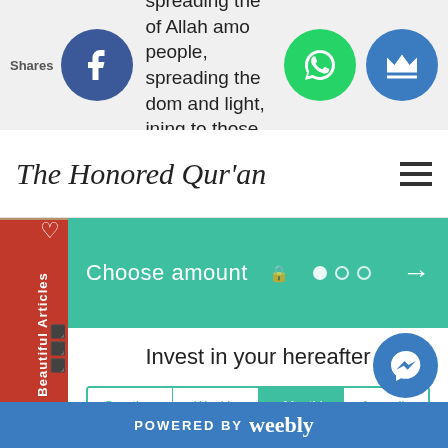spreading the word of Allah among people, spreading the wisdom and light, including to those
The Honored Qur'an
Choose amount
Invest in your hereafter
One-time
Weekly
♥ Monthly
Annually
You can log in to edit your recurring donation any time
Australian Dollar (AUD)
Get Beautiful Articles
POWERED BY weebly